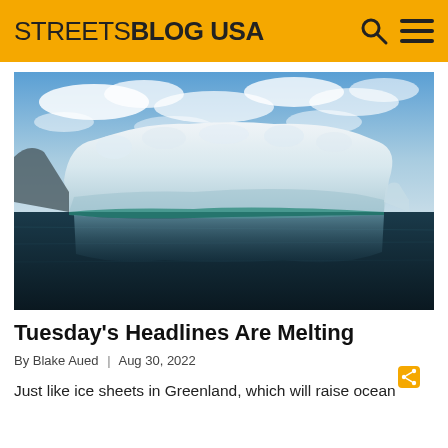STREETSBLOG USA
[Figure (photo): A large flat-topped iceberg floating on calm, dark water with its reflection visible below, blue sky with clouds in the background — a scene from Greenland.]
Tuesday's Headlines Are Melting
By Blake Aued | Aug 30, 2022
Just like ice sheets in Greenland, which will raise ocean